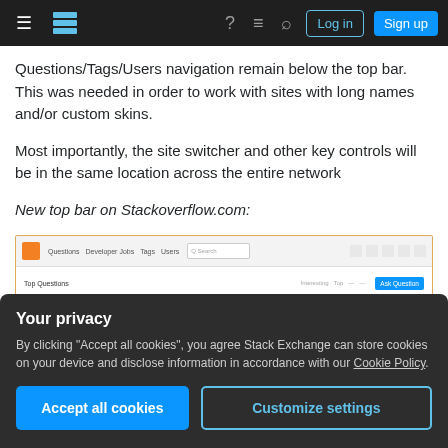Stack Exchange top bar navigation
Questions/Tags/Users navigation remain below the top bar. This was needed in order to work with sites with long names and/or custom skins.
Most importantly, the site switcher and other key controls will be in the same location across the entire network
New top bar on Stackoverflow.com:
[Figure (screenshot): Screenshot of the new Stack Overflow top bar showing navigation links, search box, and Ask Question button]
Your privacy
By clicking "Accept all cookies", you agree Stack Exchange can store cookies on your device and disclose information in accordance with our Cookie Policy.
Accept all cookies
Customize settings